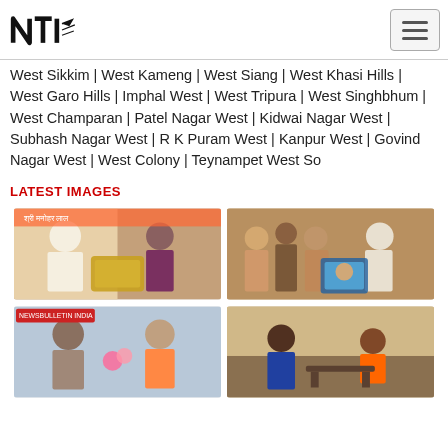NTI logo and navigation
West Sikkim | West Kameng | West Siang | West Khasi Hills | West Garo Hills | Imphal West | West Tripura | West Singhbhum | West Champaran | Patel Nagar West | Kidwai Nagar West | Subhash Nagar West | R K Puram West | Kanpur West | Govind Nagar West | West Colony | Teynampet West So
LATEST IMAGES
[Figure (photo): Person receiving award with another person at an event with Hindi text banner]
[Figure (photo): Group of people holding a framed portrait photo]
[Figure (photo): Two people greeting each other with flowers, NewsBulletin India logo visible]
[Figure (photo): People in traditional dress in a meeting or ceremony setting]